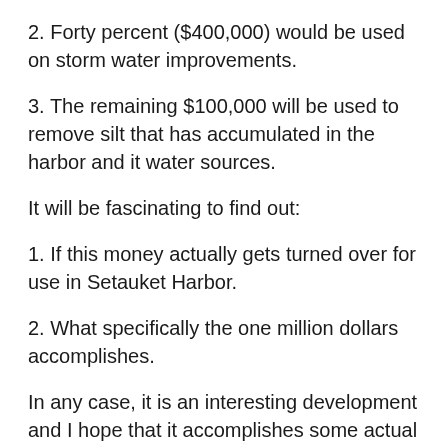2. Forty percent ($400,000) would be used on storm water improvements.
3. The remaining $100,000 will be used to remove silt that has accumulated in the harbor and it water sources.
It will be fascinating to find out:
1. If this money actually gets turned over for use in Setauket Harbor.
2. What specifically the one million dollars accomplishes.
In any case, it is an interesting development and I hope that it accomplishes some actual good results. I would question what $500,000 improvement to the Setauket Harbor Dock will accomplish? I find it hard to believe that